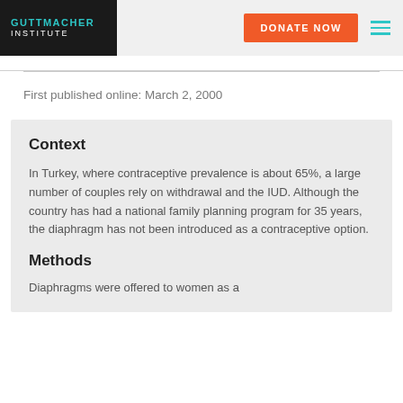GUTTMACHER INSTITUTE | DONATE NOW
First published online: March 2, 2000
Context
In Turkey, where contraceptive prevalence is about 65%, a large number of couples rely on withdrawal and the IUD. Although the country has had a national family planning program for 35 years, the diaphragm has not been introduced as a contraceptive option.
Methods
Diaphragms were offered to women as a